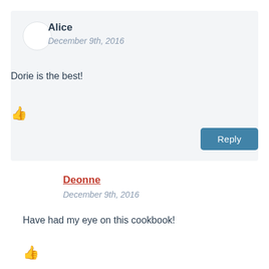Alice
December 9th, 2016
Dorie is the best!
Reply
Deonne
December 9th, 2016
Have had my eye on this cookbook!